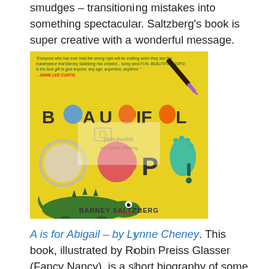smudges – transitioning mistakes into something spectacular. Saltzberg's book is super creative with a wonderful message.
[Figure (illustration): Book cover of 'Beautiful Oops!' by Barney Saltzberg. Yellow background with colorful letters spelling out 'BEAUTIFUL OOPS!' with a paintbrush, a crocodile, and various colorful shapes. Includes a quote from Jamie Lee Curtis at the top. Photobucket watermark visible.]
A is for Abigail – by Lynne Cheney. This book, illustrated by Robin Preiss Glasser (Fancy Nancy), is a short biography of some of the most influential women in US history. From suffragists to quilt-makers, the pages are crammed with details and astonishing stories. Eliza has